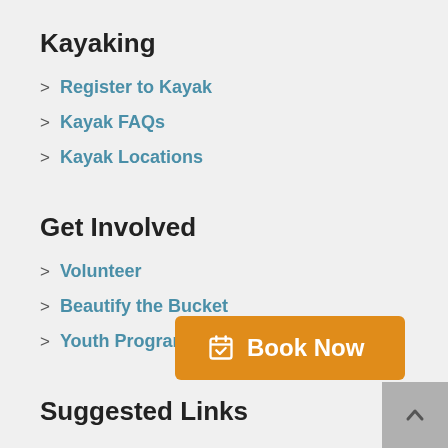Kayaking
Register to Kayak
Kayak FAQs
Kayak Locations
Get Involved
Volunteer
Beautify the Bucket
Youth Programs
Suggested Links
Galvest…
Yelp
[Figure (other): Orange 'Book Now' button with calendar-check icon overlay at bottom center of page]
[Figure (other): Gray scroll-to-top button with upward chevron at bottom right corner]